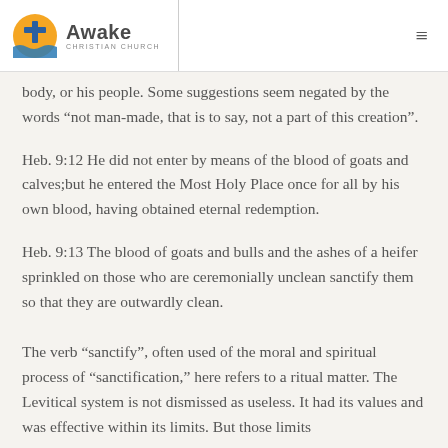Awake Christian Church
body, or his people. Some suggestions seem negated by the words “not man-made, that is to say, not a part of this creation”.
Heb. 9:12 He did not enter by means of the blood of goats and calves;but he entered the Most Holy Place once for all by his own blood, having obtained eternal redemption.
Heb. 9:13 The blood of goats and bulls and the ashes of a heifer sprinkled on those who are ceremonially unclean sanctify them so that they are outwardly clean.
The verb “sanctify”, often used of the moral and spiritual process of “sanctification,” here refers to a ritual matter. The Levitical system is not dismissed as useless. It had its values and was effective within its limits. But those limits